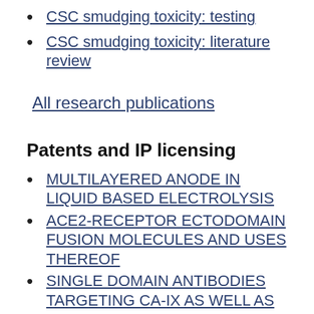CSC smudging toxicity: testing
CSC smudging toxicity: literature review
All research publications
Patents and IP licensing
MULTILAYERED ANODE IN LIQUID BASED ELECTROLYSIS
ACE2-RECEPTOR ECTODOMAIN FUSION MOLECULES AND USES THEREOF
SINGLE DOMAIN ANTIBODIES TARGETING CA-IX AS WELL AS